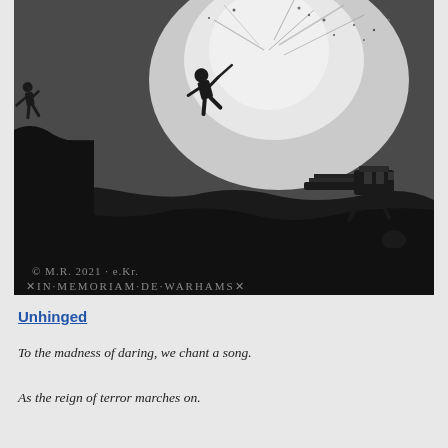[Figure (illustration): A dark pencil or charcoal illustration depicting a World War I or II battle scene. Soldiers are shown charging or falling against a dramatic explosion in the background. A machine gun is visible in the lower right. Text at the bottom of the image reads '© M.R. 2021 · e.Kr.' and 'IN MEMORIAM DE WARHAMS']
Unhinged
To the madness of daring, we chant a song.
As the reign of terror marches on.